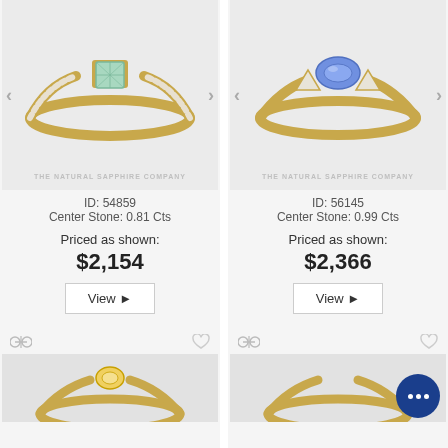[Figure (photo): Green sapphire princess cut engagement ring in yellow gold with diamond band, ID 54859]
ID: 54859
Center Stone: 0.81 Cts
Priced as shown:
$2,154
View ▶
[Figure (photo): Blue sapphire oval cut engagement ring in yellow gold with triangle side stones, ID 56145]
ID: 56145
Center Stone: 0.99 Cts
Priced as shown:
$2,366
View ▶
[Figure (photo): Yellow sapphire ring in yellow gold, partially visible at bottom]
[Figure (photo): Ring in yellow gold, partially visible at bottom right with chat bubble overlay]